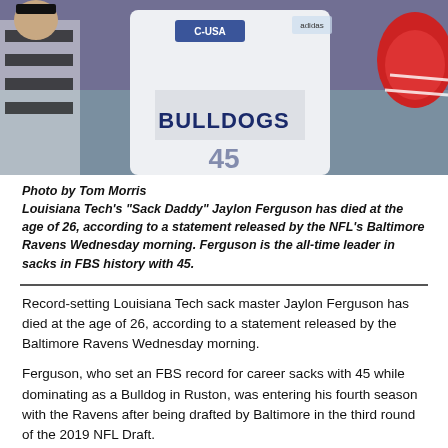[Figure (photo): Football player wearing a white Bulldogs jersey (number 45, C-USA conference) with an adidas logo, a referee in black and white stripes visible on the left, and a red helmet partially visible on the right.]
Photo by Tom Morris
Louisiana Tech's "Sack Daddy" Jaylon Ferguson has died at the age of 26, according to a statement released by the NFL's Baltimore Ravens Wednesday morning. Ferguson is the all-time leader in sacks in FBS history with 45.
Record-setting Louisiana Tech sack master Jaylon Ferguson has died at the age of 26, according to a statement released by the Baltimore Ravens Wednesday morning.
Ferguson, who set an FBS record for career sacks with 45 while dominating as a Bulldog in Ruston, was entering his fourth season with the Ravens after being drafted by Baltimore in the third round of the 2019 NFL Draft.
“We are profoundly saddened by the passing of Jaylon Ferguson,” the Ravens said in a statement Wednesday. “He was a kind, respectful young man with a big smile and infectious personality. We express our heartfelt condolences to Jaylon’s family and friends as we mourn a life lost much too soon."